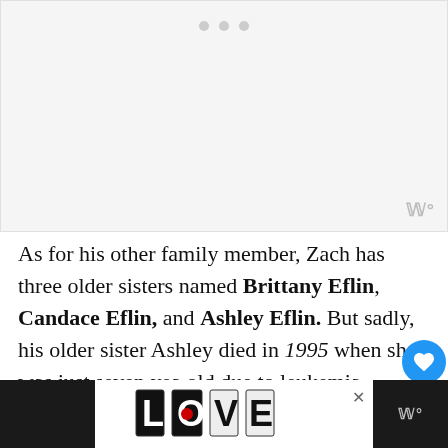[Figure (photo): A large image placeholder area with a light gray background and three dots at the top center indicating a carousel or slideshow, with a watermark logo at the bottom right corner.]
As for his other family member, Zach has three older sisters named Brittany Eflin, Candace Eflin, and Ashley Eflin. But sadly, his older sister Ashley died in 1995 when she was just seven years old due to leukemia.
[Figure (illustration): An advertisement banner at the bottom showing a decorative LOVE text logo in black and white style with a red heart detail, with a close button X, and a dark background on either side.]